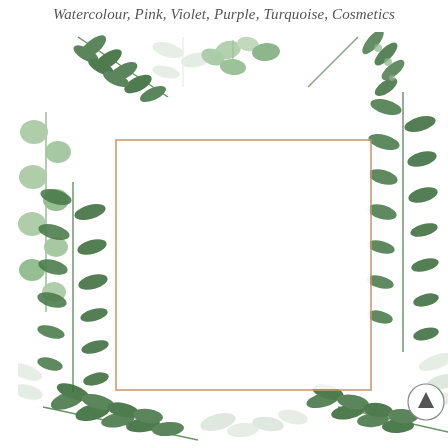Watercolour, Pink, Violet, Purple, Turquoise, Cosmetics
[Figure (illustration): Watercolour botanical illustration featuring green leaves and branches arranged as a decorative border around the edges of the image, with a thin rose-gold/copper colored square frame in the center creating a blank white space. Various styles of green leaves including eucalyptus, olive branches, and fern-like stems in shades of light and dark green with some grey-green, along with a small circular button/icon with an arrow in the bottom right corner.]